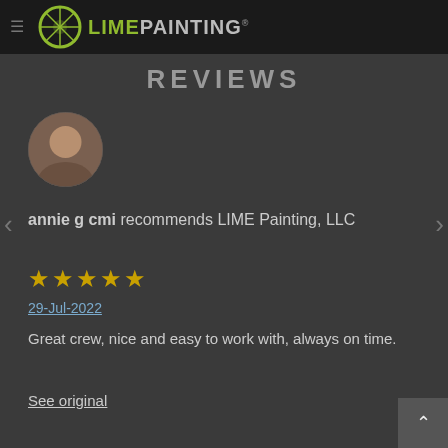LIME PAINTING
REVIEWS
[Figure (photo): Profile photo of reviewer annie g cmi]
annie g cmi recommends LIME Painting, LLC
★★★★★
29-Jul-2022
Great crew, nice and easy to work with, always on time.
See original